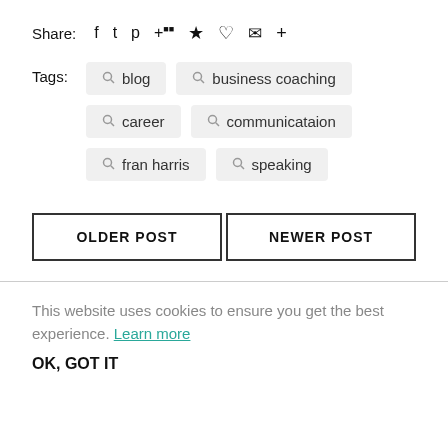Share: 𝑓 𝒚 𝑷 ⊞ 🖈 ♡ ✉ +
Tags: blog   business coaching   career   communicataion   fran harris   speaking
OLDER POST
NEWER POST
This website uses cookies to ensure you get the best experience. Learn more
OK, GOT IT